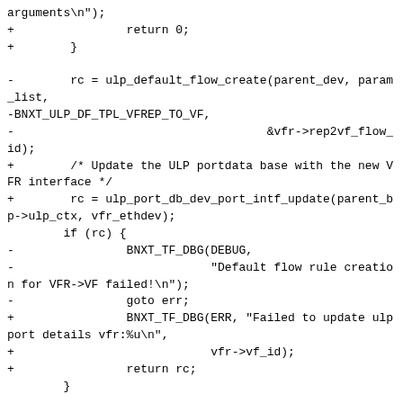Code diff snippet showing changes to VFR flow creation and ULP port update logic in a networking driver